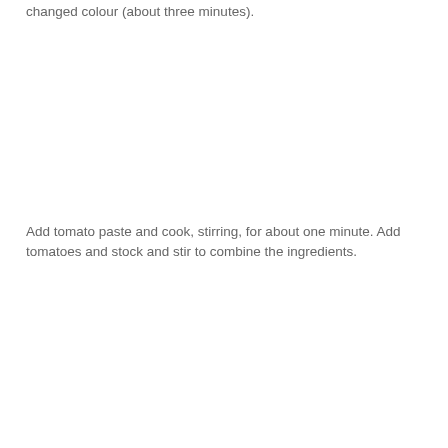changed colour (about three minutes).
Add tomato paste and cook, stirring, for about one minute. Add tomatoes and stock and stir to combine the ingredients.